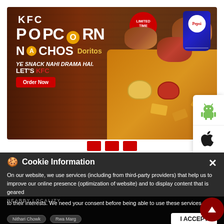[Figure (advertisement): KFC Popcorn Nachos Doritos advertisement banner. Shows KFC logo, 'POPCORN' text, 'NACHOS Doritos' text, tagline 'YE SNACK NAHI DRAMA HAI. LET'S KFC', an Order Now button, a Limited Time Offer badge, and food imagery with Pepsi cup.]
[Figure (logo): Android robot logo (green) and Apple logo (black) in a white sidebar panel on the right side.]
Cookie Information
On our website, we use services (including from third-party providers) that help us to improve our online presence (optimization of website) and to display content that is geared to their interests. We need your consent before being able to use these services.
NEARBY LOCALITY
Nithari Chowk
Rwa Marg
I ACCEPT